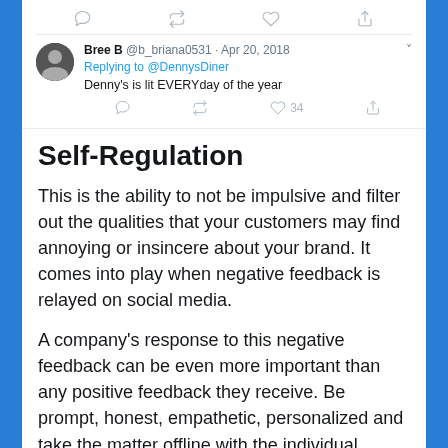[Figure (screenshot): Twitter/social media screenshot showing tweet action icons (reply, retweet, like, share) at top, then a tweet by Bree B @b_briana0531 from Apr 20, 2018 replying to @DennysDiner saying 'Denny's is lit EVERYday of the year' with 34 likes]
Self-Regulation
This is the ability to not be impulsive and filter out the qualities that your customers may find annoying or insincere about your brand. It comes into play when negative feedback is relayed on social media.
A company's response to this negative feedback can be even more important than any positive feedback they receive. Be prompt, honest, empathetic, personalized and take the matter offline with the individual.